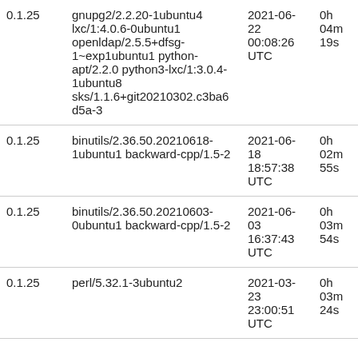| 0.1.25 | gnupg2/2.2.20-1ubuntu4 lxc/1:4.0.6-0ubuntu1 openldap/2.5.5+dfsg-1~exp1ubuntu1 python-apt/2.2.0 python3-lxc/1:3.0.4-1ubuntu8 sks/1.1.6+git20210302.c3ba6d5a-3 | 2021-06-22 00:08:26 UTC | 0h 04m 19s |
| 0.1.25 | binutils/2.36.50.20210618-1ubuntu1 backward-cpp/1.5-2 | 2021-06-18 18:57:38 UTC | 0h 02m 55s |
| 0.1.25 | binutils/2.36.50.20210603-0ubuntu1 backward-cpp/1.5-2 | 2021-06-03 16:37:43 UTC | 0h 03m 54s |
| 0.1.25 | perl/5.32.1-3ubuntu2 | 2021-03-23 23:00:51 UTC | 0h 03m 24s |